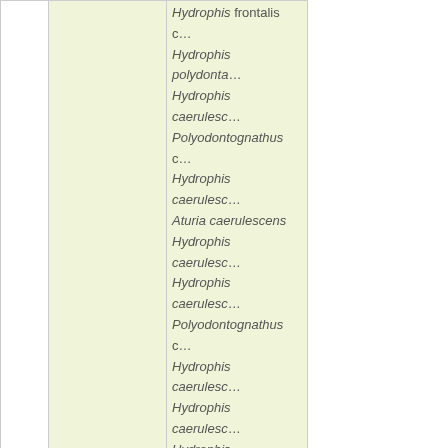|  |  | Species / Distribution |
| --- | --- | --- |
|  |  | Hydrophis frontalis c... |
|  |  | Hydrophis polydonta... |
|  |  | Hydrophis caerulesc... |
|  |  | Polyodontognathus c... |
|  |  | Hydrophis caerulesc... |
|  |  | Aturia caerulescens |
|  |  | Hydrophis caerulesc... |
|  |  | Hydrophis caerulesc... |
|  |  | Polyodontognathus c... |
|  |  | Hydrophis caerulesc... |
|  |  | Hydrophis caerulesc... |
|  |  | Hydrophis caerulesc... |
|  |  | Hydrophis caerulesc... |
|  |  | Polyodontognathus c... |
|  |  | Polyodontognathus c... |
|  |  |  |
|  |  | Hydrophis caerulesc... |
|  |  | Hydrophis hybrida S... |
|  |  | Polyodontognathus c... |
|  |  | Polyodontognathus c... |
|  | Distribution | Indian Ocean (Pakis... Vietnam, Banglade... Coasts of Shandong... Australia (Queensla... hybridus: gulfs of Th... Type locality: Indian Vizagapatam: See... |